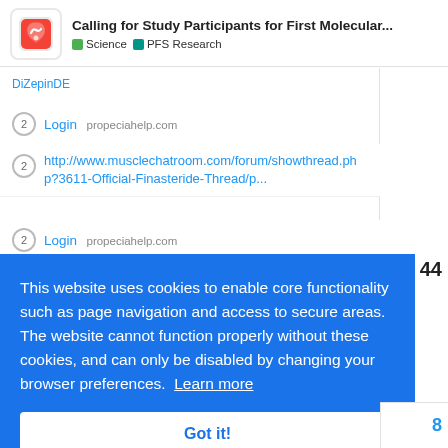Calling for Study Participants for First Molecular... | Science | PFS Research
2 Login propeciahelp.com
2 http://www.musclechatroom.com/forum/showthread.php?3611-Official-Finasteride-Thread/p...
2 Login propeciahelp.com
This website uses cookies to enable core functionality such as page navigation and access to secure areas. The website cannot function properly without these cookies, and can only be disabled by changing your browser preferences. Learn more
Got it!